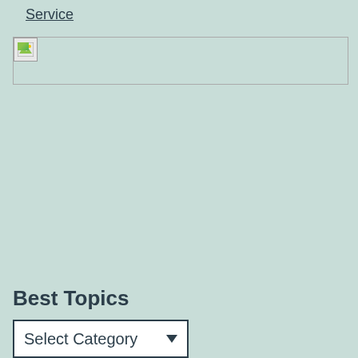Service
[Figure (other): Broken image placeholder with image icon]
Best Topics
Select Category